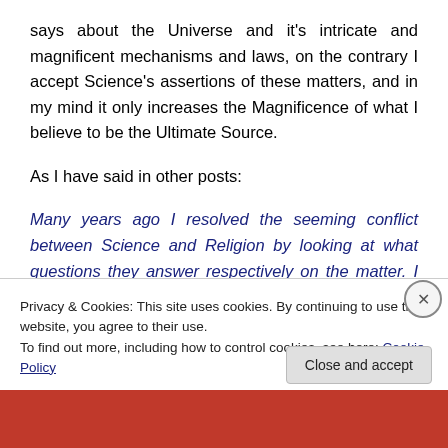says about the Universe and it's intricate and magnificent mechanisms and laws, on the contrary I accept Science's assertions of these matters, and in my mind it only increases the Magnificence of what I believe to be the Ultimate Source.
As I have said in other posts:
Many years ago I resolved the seeming conflict between Science and Religion by looking at what questions they answer respectively on the matter. I think perhaps I
Privacy & Cookies: This site uses cookies. By continuing to use this website, you agree to their use.
To find out more, including how to control cookies, see here: Cookie Policy
Close and accept